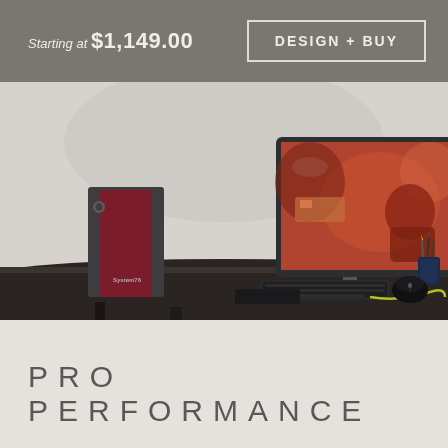Starting at $1,149.00
DESIGN + BUY
[Figure (photo): Desktop workstation computer setup on a dark desk — a System76 tower PC with dark grey and burgundy red panels, a large widescreen monitor displaying a reddish-toned photo editing scene, keyboard, mouse, and a pencil holder on the right side of the desk.]
PRO PERFORMANCE